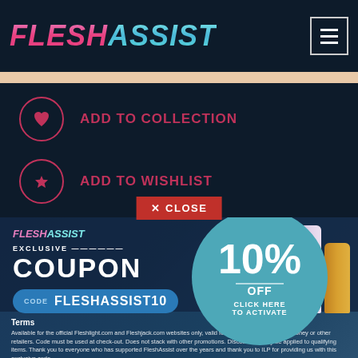FLESH ASSIST
ADD TO COLLECTION
ADD TO WISHLIST
X CLOSE
[Figure (infographic): Exclusive coupon banner with 10% OFF code FLESHASSIST10 for Fleshlight.com and Fleshjack.com]
CODE  FLESHASSIST10
10% OFF — CLICK HERE TO ACTIVATE
Terms
Available for the official Fleshlight.com and Fleshjack.com websites only, valid for all regions. Not for LoveHoney or other retailers. Code must be used at check-out. Does not stack with other promotions. Discount will only be applied to qualifying items. Thank you to everyone who has supported FleshAssist over the years and thank you to ILP for providing us with this exclusive code.